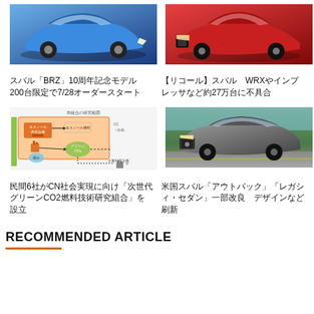[Figure (photo): Blue Subaru BRZ sports car, side/front view on dark background]
[Figure (photo): Red Subaru WRX/Impreza sedan, front view]
スバル「BRZ」10周年記念モデル　200台限定で7/28オーダースタート
【リコール】スバル　WRXやインプレッサなど約27万台に不具合
[Figure (flowchart): Diagram showing ethanol production process: エタノール供充設備 → エタノール燃料, 廃水 → グリーンCO2, 水素製造設備, related to CO2 fuel technology research]
[Figure (photo): Grey Subaru Outback SUV, front three-quarter view on road with trees]
民間6社がCN社会実現に向け「次世代グリーンCO2燃料技術研究組合」を設立
米国スバル「アウトバック」「レガシィ・セダン」一部改良　デザインなど刷新
RECOMMENDED ARTICLE